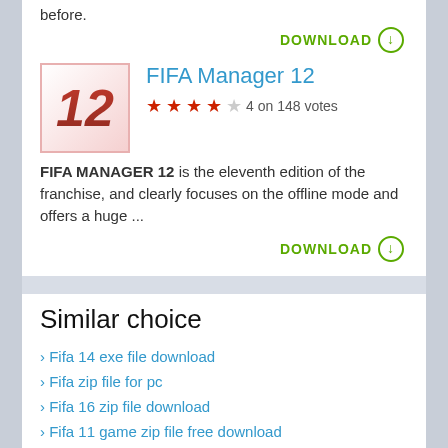before.
DOWNLOAD
FIFA Manager 12
4 on 148 votes
FIFA MANAGER 12 is the eleventh edition of the franchise, and clearly focuses on the offline mode and offers a huge ...
DOWNLOAD
Similar choice
Fifa 14 exe file download
Fifa zip file for pc
Fifa 16 zip file download
Fifa 11 game zip file free download
Download fifa 08 zip file for pc
Download fifa 07 zip file for pc